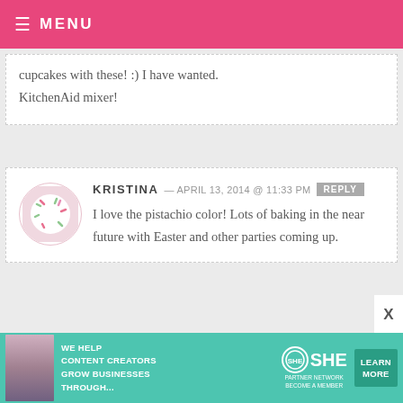MENU
cupcakes with these! :) I have wanted. KitchenAid mixer!
KRISTINA — APRIL 13, 2014 @ 11:33 PM  REPLY
I love the pistachio color! Lots of baking in the near future with Easter and other parties coming up.
SHARON — APRIL 13, 2014 @ 11:33 PM  REPLY
[Figure (infographic): SHE Partner Network advertisement banner: teal background, woman with tablet photo, text 'WE HELP CONTENT CREATORS GROW BUSINESSES THROUGH...', SHE logo, LEARN MORE button]